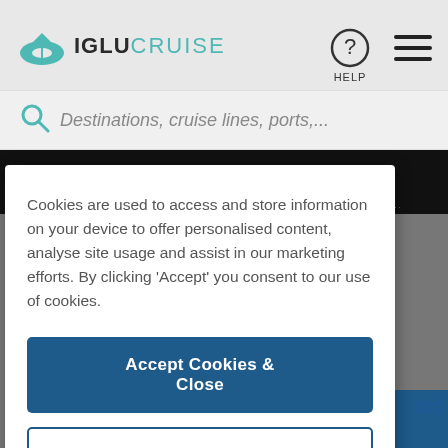[Figure (screenshot): Iglu Cruise website header with teal logo, help icon, and hamburger menu on grey background]
Destinations, cruise lines, ports,...
THE BIG BANK HOLIDAY ONLINE SALE!
Cookies are used to access and store information on your device to offer personalised content, analyse site usage and assist in our marketing efforts. By clicking 'Accept' you consent to our use of cookies.
Accept Cookies & Close
Cookies Settings